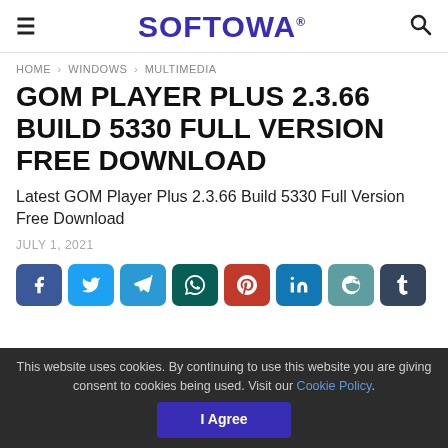SOFTOWA
HOME > WINDOWS > MULTIMEDIA
GOM PLAYER PLUS 2.3.66 BUILD 5330 FULL VERSION FREE DOWNLOAD
Latest GOM Player Plus 2.3.66 Build 5330 Full Version Free Download
JULY 1, 2021
[Figure (infographic): Row of 8 social sharing buttons: Facebook, Twitter, Telegram, WhatsApp, Pinterest, LinkedIn, Reddit, Tumblr]
This website uses cookies. By continuing to use this website you are giving consent to cookies being used. Visit our Cookie Policy.
I Agree